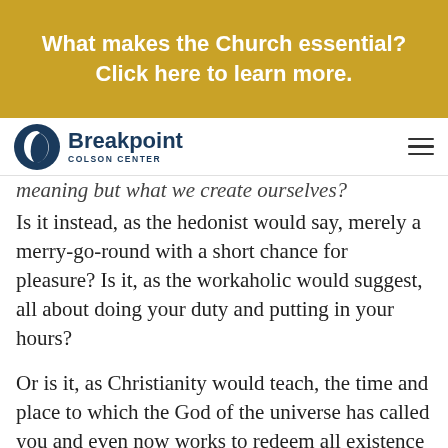What makes the Church essential? Click here to learn more.
[Figure (logo): Breakpoint Colson Center logo with circular icon and text]
meaning but what we create ourselves? Is it instead, as the hedonist would say, merely a merry-go-round with a short chance for pleasure? Is it, as the workaholic would suggest, all about doing your duty and putting in your hours?
Or is it, as Christianity would teach, the time and place to which the God of the universe has called you and even now works to redeem all existence to His original Shalom? Or own yet the...